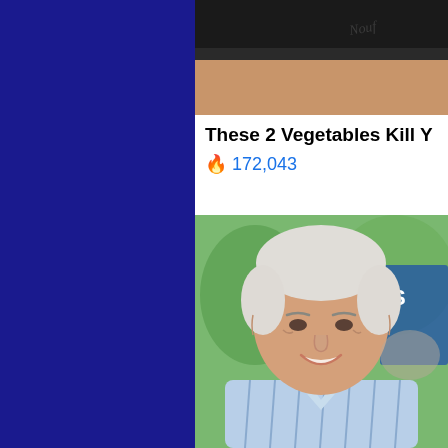[Figure (photo): Screenshot of a webpage/social media feed showing an advertisement with a cropped photo at top (person's torso with tattoo), an ad headline reading 'These 2 Vegetables Kill Y...' with a flame icon and count '172,043' in blue, and below that a photo of an older white-haired man (Joe Biden) smiling outdoors in a blue striped shirt. Left side of page has a solid dark blue background.]
These 2 Vegetables Kill Y
🔥 172,043